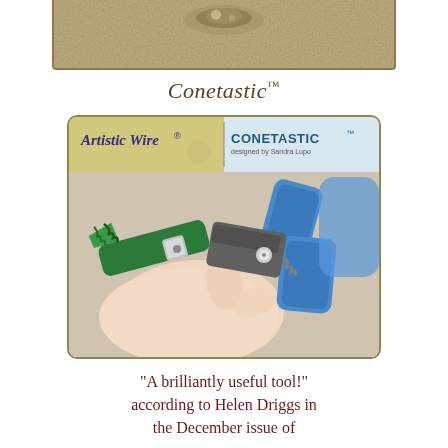[Figure (photo): Top partial photo showing a crafting product on a textured brownish background, cropped at top of page]
Conetastic™
[Figure (photo): Product packaging photo showing Artistic Wire Conetastic tool - a hand holding a green conical mandrel tool being used with blue-handled wire cutters/pliers. The packaging header shows 'Artistic Wire® CONETASTIC™ designed by Sandra Lupo']
"A brilliantly useful tool!" according to Helen Driggs in the December issue of